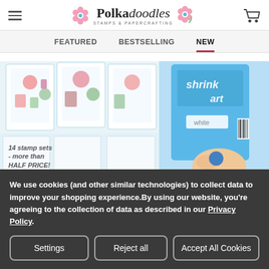Polkadoodles Stamps & Papercrafting — navigation: FEATURED, BESTSELLING, NEW
[Figure (photo): Left product image: Christmas/holiday stamp sets collection with text '14 stamp sets - more than HALF PRICE! INCREDIBLE VALUE']
[Figure (photo): Right product image: Shrink Art white package with hand demonstrating the product]
We use cookies (and other similar technologies) to collect data to improve your shopping experience.By using our website, you're agreeing to the collection of data as described in our Privacy Policy.
Settings | Reject all | Accept All Cookies